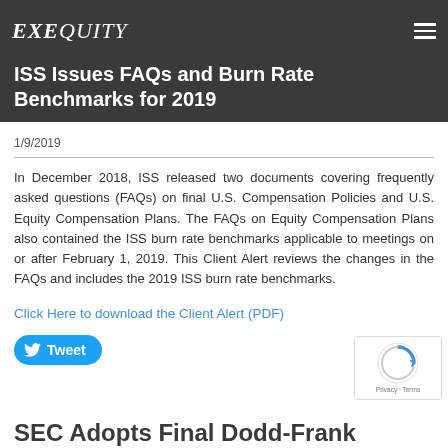EXEQUITY
ISS Issues FAQs and Burn Rate Benchmarks for 2019
1/9/2019
In December 2018, ISS released two documents covering frequently asked questions (FAQs) on final U.S. Compensation Policies and U.S. Equity Compensation Plans. The FAQs on Equity Compensation Plans also contained the ISS burn rate benchmarks applicable to meetings on or after February 1, 2019. This Client Alert reviews the changes in the FAQs and includes the 2019 ISS burn rate benchmarks.
Click Here to download the Client Alert (PDF)
Tweet
SEC Adopts Final Dodd-Frank